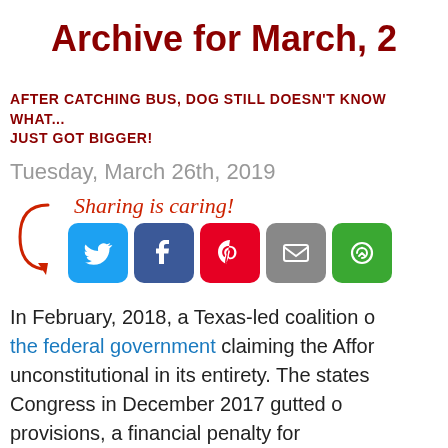Archive for March, 2...
AFTER CATCHING BUS, DOG STILL DOESN'T KNOW WHAT... JUST GOT BIGGER!
Tuesday, March 26th, 2019
[Figure (infographic): Sharing is caring! social share buttons for Twitter, Facebook, Pinterest, Email, and More options]
In February, 2018, a Texas-led coalition of... the federal government claiming the Affor... unconstitutional in its entirety. The states... Congress in December 2017 gutted o... provisions, a financial penalty for...